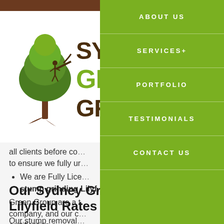[Figure (logo): Sydney Green Group logo with tree illustration and brown/green text]
all clients before co... to ensure we fully ur...
We are Fully Lice... stump grinding Lilyf...
Green Group are a t... company, and our c... certification.
Our Sydney Gre... Lilyfield Rates
Our stump removal... for the job is based...
[Figure (screenshot): Navigation menu with green background showing: ABOUT US, SERVICES+, PORTFOLIO, TESTIMONIALS, CONTACT US]